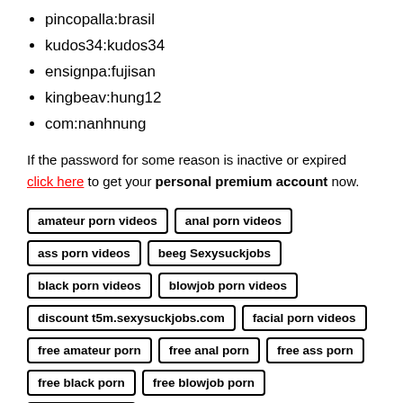pincopalla:brasil
kudos34:kudos34
ensignpa:fujisan
kingbeav:hung12
com:nanhnung
If the password for some reason is inactive or expired click here to get your personal premium account now.
amateur porn videos | anal porn videos | ass porn videos | beeg Sexysuckjobs | black porn videos | blowjob porn videos | discount t5m.sexysuckjobs.com | facial porn videos | free amateur porn | free anal porn | free ass porn | free black porn | free blowjob porn | free facial porn